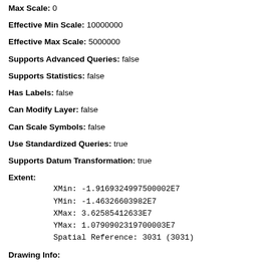Max Scale: 0
Effective Min Scale: 10000000
Effective Max Scale: 5000000
Supports Advanced Queries: false
Supports Statistics: false
Has Labels: false
Can Modify Layer: false
Can Scale Symbols: false
Use Standardized Queries: true
Supports Datum Transformation: true
Extent:
  XMin: -1.9169324997500002E7
  YMin: -1.46326603982E7
  XMax: 3.62585412633E7
  YMax: 1.0790902319700003E7
  Spatial Reference: 3031  (3031)
Drawing Info: